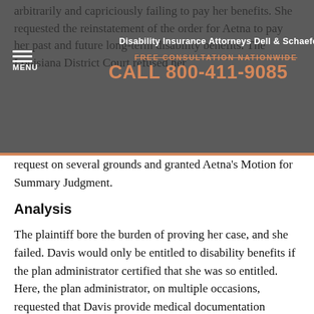arbitrarily and capriciously failing to pay her benefits. She requested the reinstatement of the order for Aetna to pay her past and future long-term disability benefits. The Louisiana District Court refused her request on several grounds and granted Aetna's Motion for Summary Judgment.
Disability Insurance Attorneys Dell & Schaefer | FREE CONSULTATION NATIONWIDE | CALL 800-411-9085
Analysis
The plaintiff bore the burden of proving her case, and she failed. Davis would only be entitled to disability benefits if the plan administrator certified that she was so entitled. Here, the plan administrator, on multiple occasions, requested that Davis provide medical documentation supporting her claim that she could not perform her job responsibilities.